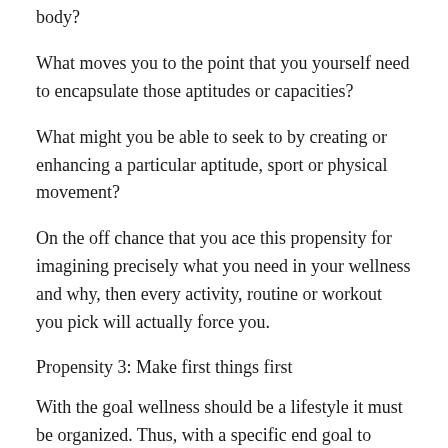body?
What moves you to the point that you yourself need to encapsulate those aptitudes or capacities?
What might you be able to seek to by creating or enhancing a particular aptitude, sport or physical movement?
On the off chance that you ace this propensity for imagining precisely what you need in your wellness and why, then every activity, routine or workout you pick will actually force you.
Propensity 3: Make first things first
With the goal wellness should be a lifestyle it must be organized. Thus, with a specific end goal to make wellness first in your life, you either make it first in your